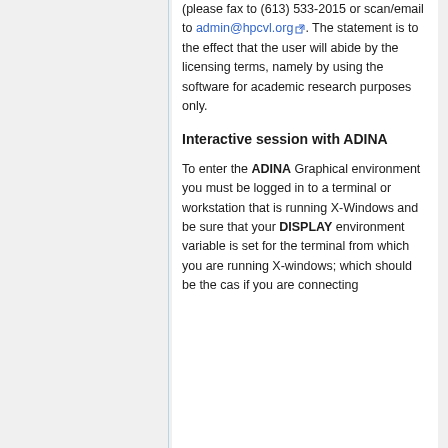(please fax to (613) 533-2015 or scan/email to admin@hpcvl.org. The statement is to the effect that the user will abide by the licensing terms, namely by using the software for academic research purposes only.
Interactive session with ADINA
To enter the ADINA Graphical environment you must be logged in to a terminal or workstation that is running X-Windows and be sure that your DISPLAY environment variable is set for the terminal from which you are running X-windows; which should be the cas if you are connecting